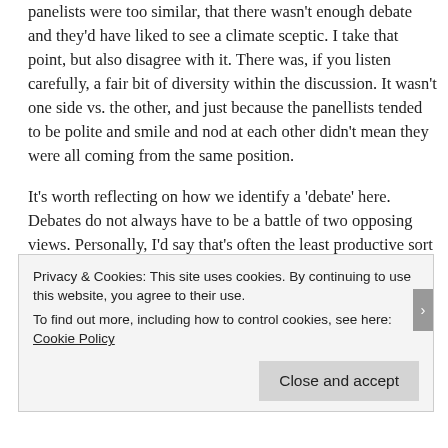panelists were too similar, that there wasn't enough debate and they'd have liked to see a climate sceptic. I take that point, but also disagree with it. There was, if you listen carefully, a fair bit of diversity within the discussion. It wasn't one side vs. the other, and just because the panellists tended to be polite and smile and nod at each other didn't mean they were all coming from the same position.
It's worth reflecting on how we identify a 'debate' here. Debates do not always have to be a battle of two opposing views. Personally, I'd say that's often the least productive sort of debate you can have. They can also just be a group of people playing with a particular issue; a matter of
Privacy & Cookies: This site uses cookies. By continuing to use this website, you agree to their use.
To find out more, including how to control cookies, see here: Cookie Policy
Close and accept